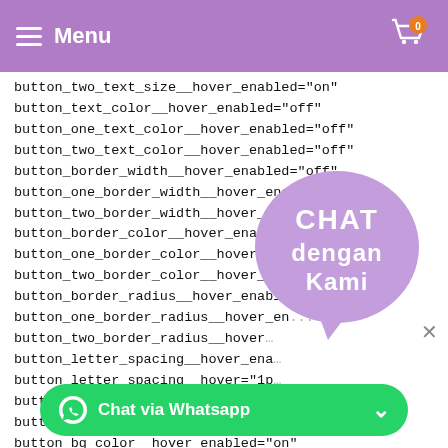Menu
button_two_text_size__hover_enabled="on"
button_text_color__hover_enabled="off"
button_one_text_color__hover_enabled="off"
button_two_text_color__hover_enabled="off"
button_border_width__hover_enabled="off"
button_one_border_width__hover_enabled="off"
button_two_border_width__hover_enabled="off"
button_border_color__hover_enabled="off"
button_one_border_color__hover_enabled="off"
button_two_border_color__hover_enabled="off"
button_border_radius__hover_enabled="off"
button_one_border_radius__hover_en...
button_two_border_radius__hover_...
button_letter_spacing__hover_ena...
button_letter_spacing__hover="1p...
button_one_letter_spacing__hover_...
button_two_letter_spacing__hover_e...
button_bg_color__hover_enabled="on"
button_bg_color__hove...
button_one_bg_color__h...
button_two_bg_color__hover_enabled="off"][/et_pb_button]
[Figure (illustration): Purple speech bubble with white text 'CHAT dengan Kami']
Chat via Whatsapp